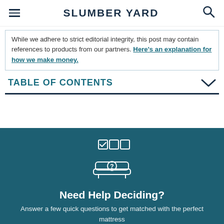SLUMBER YARD
While we adhere to strict editorial integrity, this post may contain references to products from our partners. Here's an explanation for how we make money.
TABLE OF CONTENTS
[Figure (illustration): Quiz icon: three checkbox squares above a mattress with a question mark]
Need Help Deciding?
Answer a few quick questions to get matched with the perfect mattress
Take Mattress Finder Quiz